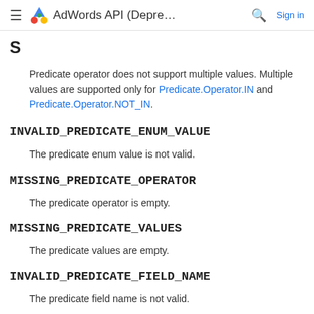AdWords API (Depre... Sign in
S
Predicate operator does not support multiple values. Multiple values are supported only for Predicate.Operator.IN and Predicate.Operator.NOT_IN.
INVALID_PREDICATE_ENUM_VALUE
The predicate enum value is not valid.
MISSING_PREDICATE_OPERATOR
The predicate operator is empty.
MISSING_PREDICATE_VALUES
The predicate values are empty.
INVALID_PREDICATE_FIELD_NAME
The predicate field name is not valid.